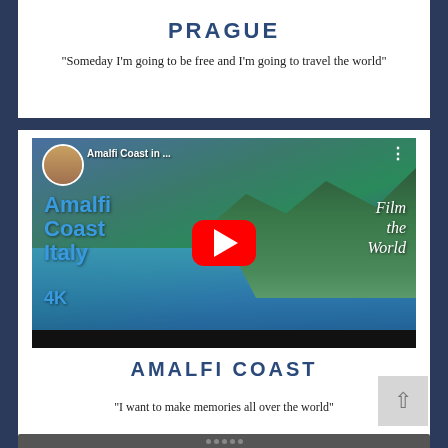PRAGUE
"Someday I'm going to be free and I'm going to travel the world"
[Figure (screenshot): YouTube video thumbnail for Amalfi Coast Italy 4K video, showing coastal scenery with mountains, blue water, and boats. Overlay text reads 'Amalfi Coast in...' with a play button and 'Film the World' italic text. Channel avatar shows a couple photo.]
AMALFI COAST
"I want to make memories all over the world"